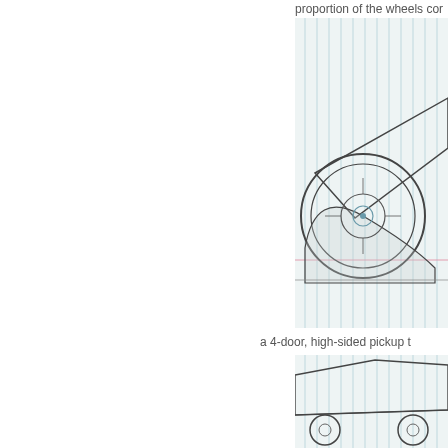proportion of the wheels cor
[Figure (illustration): Sketch of a vehicle wheel/tire drawn on graph paper with blue grid lines; shows circular wheel with hub detail, partial vehicle body outline, drawn in pencil/ink on lined graph paper background]
a 4-door, high-sided pickup t
[Figure (illustration): Partial sketch of another vehicle drawn on graph paper with blue grid lines, bottom portion visible]